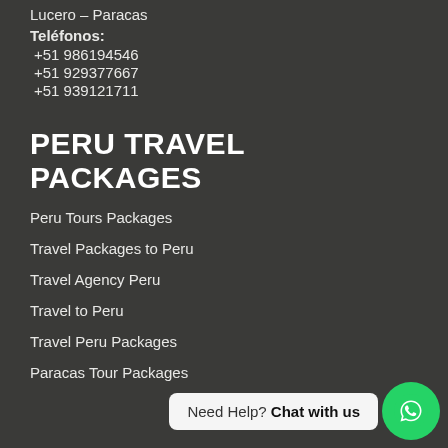Lucero – Paracas
Teléfonos:
+51 986194546
+51 929377667
+51 939121711
PERU TRAVEL PACKAGES
Peru Tours Packages
Travel Packages to Peru
Travel Agency Peru
Travel to Peru
Travel Peru Packages
Paracas Tour Packages
Need Help? Chat with us